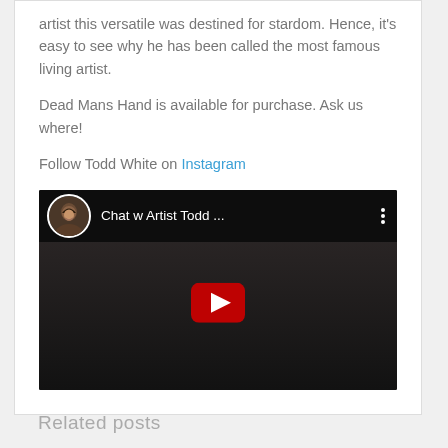artist this versatile was destined for stardom. Hence, it's easy to see why he has been called the most famous living artist.
Dead Mans Hand is available for purchase. Ask us where!
Follow Todd White on Instagram
[Figure (screenshot): YouTube video thumbnail showing 'Chat w Artist Todd ...' with a circular avatar of a smiling woman and a red YouTube play button overlay on a dark background.]
Related posts